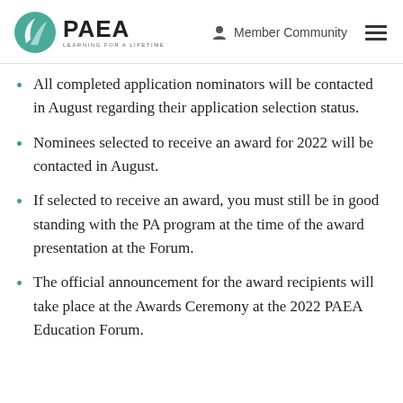PAEA – Member Community
All completed application nominators will be contacted in August regarding their application selection status.
Nominees selected to receive an award for 2022 will be contacted in August.
If selected to receive an award, you must still be in good standing with the PA program at the time of the award presentation at the Forum.
The official announcement for the award recipients will take place at the Awards Ceremony at the 2022 PAEA Education Forum.